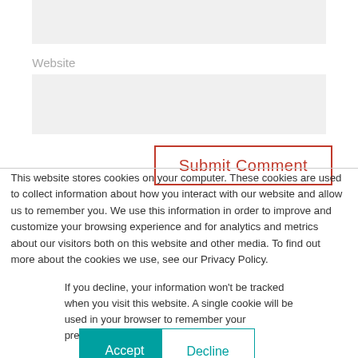[Figure (screenshot): Website form input box (top, clipped)]
Website
[Figure (screenshot): Website URL input field (gray background)]
Submit Comment
This website stores cookies on your computer. These cookies are used to collect information about how you interact with our website and allow us to remember you. We use this information in order to improve and customize your browsing experience and for analytics and metrics about our visitors both on this website and other media. To find out more about the cookies we use, see our Privacy Policy.
If you decline, your information won't be tracked when you visit this website. A single cookie will be used in your browser to remember your preference not to be tracked.
Accept
Decline